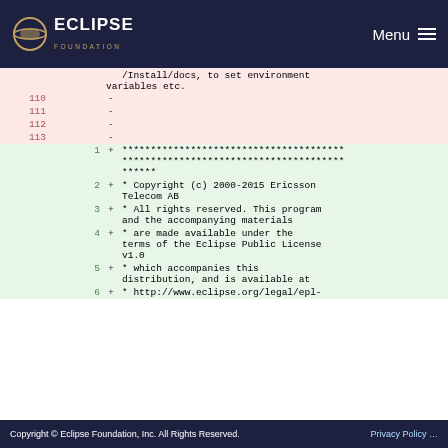Eclipse Foundation — Menu
/Install/docs, to set environment variables etc.
110  -
111  -
112  -
113  -
1  + *************************************** *************************************** ******
2  + * Copyright (c) 2000-2015 Ericsson Telecom AB
3  + * All rights reserved. This program and the accompanying materials
4  + * are made available under the terms of the Eclipse Public License v1.0
5  + * which accompanies this distribution, and is available at
6  + * http://www.eclipse.org/legal/epl-
Copyright © Eclipse Foundation, Inc. All Rights Reserved.    Privacy Policy …